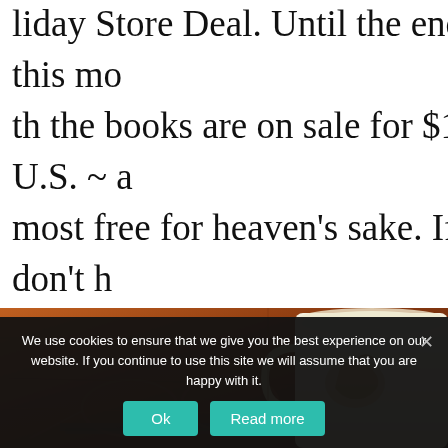liday Store Deal. Until the end of this month the books are on sale for $1.40 U.S. ~ almost free for heaven's sake. If you don't have your copies, now is a good time to pick one up or gift a few to your friends!
[Figure (photo): A warm-toned photo showing a pair of eyeglasses resting on a wooden table beside a decorative ceramic mug with a floral or bird design]
We use cookies to ensure that we give you the best experience on our website. If you continue to use this site we will assume that you are happy with it.